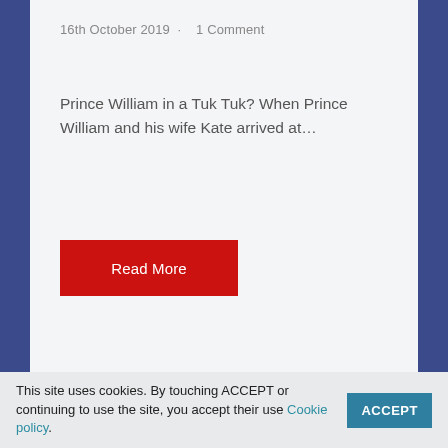16th October 2019  ·  1 Comment
Prince William in a Tuk Tuk? When Prince William and his wife Kate arrived at…
Read More
This site uses cookies. By touching ACCEPT or continuing to use the site, you accept their use Cookie policy.